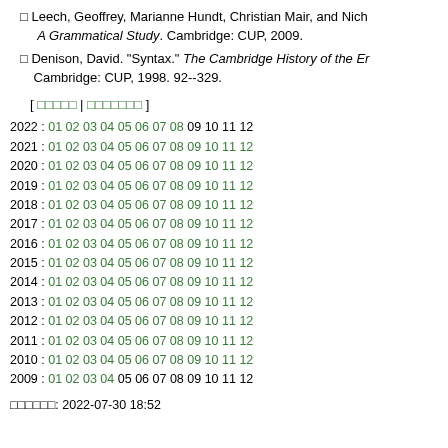□ Leech, Geoffrey, Marianne Hundt, Christian Mair, and Nich… A Grammatical Study. Cambridge: CUP, 2009.
□ Denison, David. "Syntax." The Cambridge History of the Er… Cambridge: CUP, 1998. 92--329.
[ □□□□□ | □□□□□□□ ]
2022 : 01 02 03 04 05 06 07 08 09 10 11 12
2021 : 01 02 03 04 05 06 07 08 09 10 11 12
2020 : 01 02 03 04 05 06 07 08 09 10 11 12
2019 : 01 02 03 04 05 06 07 08 09 10 11 12
2018 : 01 02 03 04 05 06 07 08 09 10 11 12
2017 : 01 02 03 04 05 06 07 08 09 10 11 12
2016 : 01 02 03 04 05 06 07 08 09 10 11 12
2015 : 01 02 03 04 05 06 07 08 09 10 11 12
2014 : 01 02 03 04 05 06 07 08 09 10 11 12
2013 : 01 02 03 04 05 06 07 08 09 10 11 12
2012 : 01 02 03 04 05 06 07 08 09 10 11 12
2011 : 01 02 03 04 05 06 07 08 09 10 11 12
2010 : 01 02 03 04 05 06 07 08 09 10 11 12
2009 : 01 02 03 04 05 06 07 08 09 10 11 12
□□□□□□: 2022-07-30 18:52